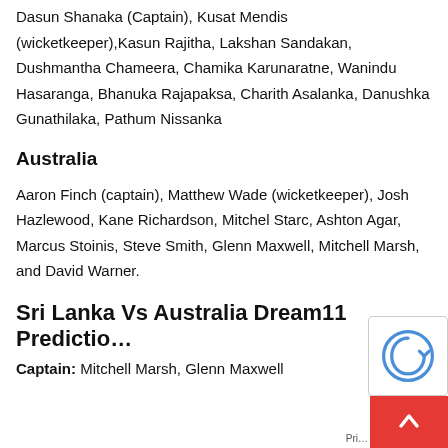Dasun Shanaka (Captain), Kusat Mendis (wicketkeeper),Kasun Rajitha, Lakshan Sandakan, Dushmantha Chameera, Chamika Karunaratne, Wanindu Hasaranga, Bhanuka Rajapaksa, Charith Asalanka, Danushka Gunathilaka, Pathum Nissanka
Australia
Aaron Finch (captain), Matthew Wade (wicketkeeper), Josh Hazlewood, Kane Richardson, Mitchel Starc, Ashton Agar, Marcus Stoinis, Steve Smith, Glenn Maxwell, Mitchell Marsh, and David Warner.
Sri Lanka Vs Australia Dream11 Predictio…
Captain: Mitchell Marsh, Glenn Maxwell